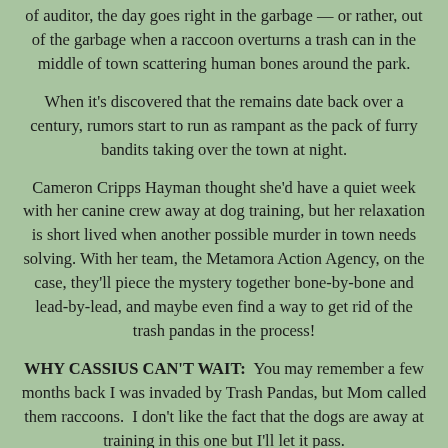of auditor, the day goes right in the garbage — or rather, out of the garbage when a raccoon overturns a trash can in the middle of town scattering human bones around the park.
When it's discovered that the remains date back over a century, rumors start to run as rampant as the pack of furry bandits taking over the town at night.
Cameron Cripps Hayman thought she'd have a quiet week with her canine crew away at dog training, but her relaxation is short lived when another possible murder in town needs solving. With her team, the Metamora Action Agency, on the case, they'll piece the mystery together bone-by-bone and lead-by-lead, and maybe even find a way to get rid of the trash pandas in the process!
WHY CASSIUS CAN'T WAIT: You may remember a few months back I was invaded by Trash Pandas, but Mom called them raccoons. I don't like the fact that the dogs are away at training in this one but I'll let it pass.
Also, I found on the computer that mom "preordered" this one. I asked her what that meant and she said it's when you